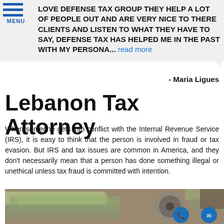LOVE DEFENSE TAX GROUP THEY HELP A LOT OF PEOPLE OUT AND ARE VERY NICE TO THERE CLIENTS AND LISTEN TO WHAT THEY HAVE TO SAY, DEFENSE TAX HAS HELPED ME IN THE PAST WITH MY PERSONA... read more
- Maria Ligues
Lebanon Tax Attorney
When someone gets into conflict with the Internal Revenue Service (IRS), it is easy to think that the person is involved in fraud or tax evasion. But IRS and tax issues are common in America, and they don't necessarily mean that a person has done something illegal or unethical unless tax fraud is committed with intention.
[Figure (photo): Photo of US dollar bills with a lock/safe mechanism, with circular phone and email contact icons overlaid in blue]